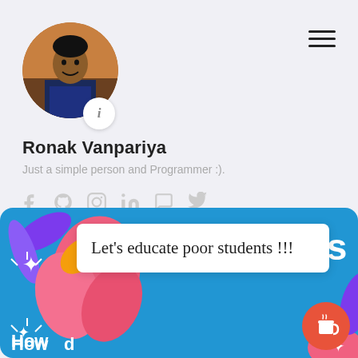[Figure (photo): Circular profile photo of Ronak Vanpariya, a young man in dark clothing, seated in what appears to be an auditorium. An info badge ('i') circle overlaps the bottom-right of the avatar.]
Ronak Vanpariya
Just a simple person and Programmer :).
[Figure (infographic): Row of social media icons: Facebook, GitHub, Instagram, LinkedIn, a chat/message icon, and Twitter — all in light gray.]
[Figure (illustration): Blue card section at the bottom of the page with colorful decorative illustrations (tropical leaves and shapes in pink, orange, purple, white). Contains a white popup box with text 'Let’s educate poor students !!!', the partial word 'oks' in white at top-right, 'How ... d' at the bottom in white, and a red/orange coffee-cup button on the right.]
Let's educate poor students !!!
How [text obscured by popup] d